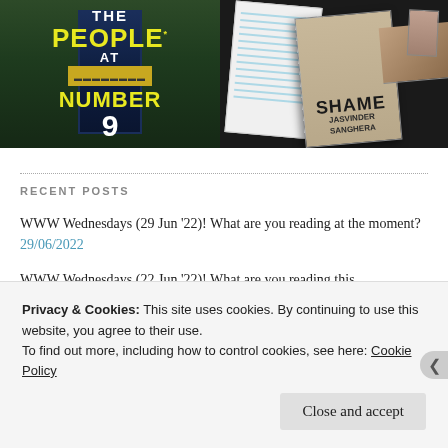[Figure (photo): Two book covers side by side: left shows 'The People at Number 9' with a dark blue door and yellow text on a green hedge background; right shows 'Shame by Jasvinder Sanghera' book on a dark surface with a notebook]
RECENT POSTS
WWW Wednesdays (29 Jun '22)! What are you reading at the moment? 29/06/2022
WWW Wednesdays (22 Jun '22)! What are you reading this
Privacy & Cookies: This site uses cookies. By continuing to use this website, you agree to their use.
To find out more, including how to control cookies, see here: Cookie Policy
Close and accept